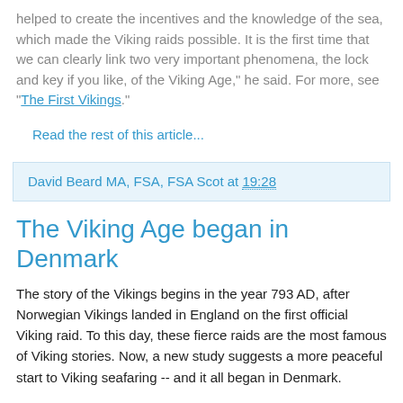helped to create the incentives and the knowledge of the sea, which made the Viking raids possible. It is the first time that we can clearly link two very important phenomena, the lock and key if you like, of the Viking Age," he said. For more, see "The First Vikings."
Read the rest of this article...
David Beard MA, FSA, FSA Scot at 19:28
The Viking Age began in Denmark
The story of the Vikings begins in the year 793 AD, after Norwegian Vikings landed in England on the first official Viking raid. To this day, these fierce raids are the most famous of Viking stories. Now, a new study suggests a more peaceful start to Viking seafaring -- and it all began in Denmark.